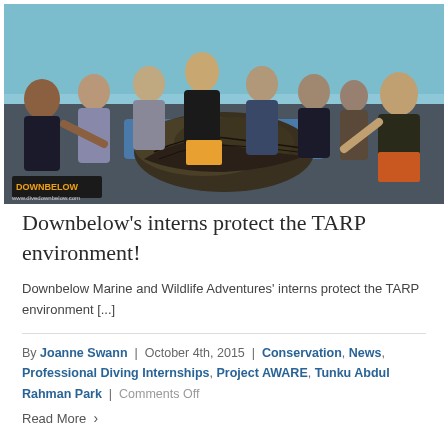[Figure (photo): Group photo of divers on a boat, holding up a large pile of collected marine debris/seaweed. The group includes men and women in dive suits and rashguards. A Downbelow Marine and Wildlife Adventures logo is visible in the bottom left corner. Green water visible in background.]
Downbelow's interns protect the TARP environment!
Downbelow Marine and Wildlife Adventures' interns protect the TARP environment [...]
By Joanne Swann | October 4th, 2015 | Conservation, News, Professional Diving Internships, Project AWARE, Tunku Abdul Rahman Park | Comments Off
Read More >